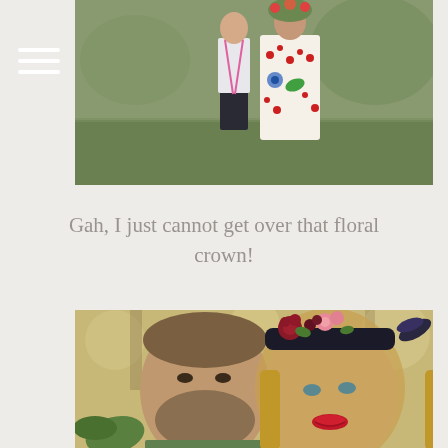[Figure (photo): Couple standing outdoors on grass. Man in dark pants, white shirt, pink suspenders. Woman in colorful floral dress with red berries, blue and green floral print. Both facing camera.]
Gah, I just cannot get over that floral crown!
[Figure (photo): Close-up portrait of couple outdoors with bokeh background. Man with beard and short hair on left wearing green. Woman on right with long blonde hair wearing an elaborate floral crown with deep red, pink flowers and dark feathers, wearing red lipstick.]